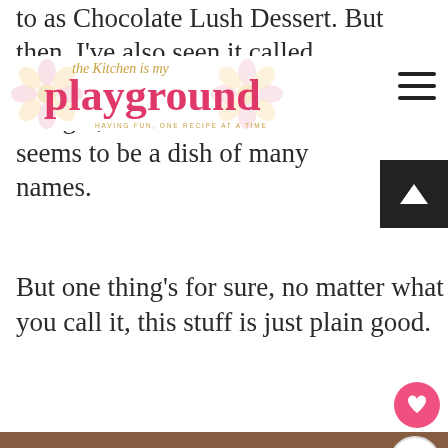the Kitchen is my playground — HAVING FUN, ONE RECIPE AT A TIME
to as Chocolate Lush Dessert. But then, I've also seen it called Chocolate Lush, Fat Man's Delight, and Sex In a Pan … It seems to be a dish of many names.
But one thing's for sure, no matter what you call it, this stuff is just plain good.
[Figure (photo): Close-up photo of a dessert slice with whipped cream and nuts, on a red plate, blurred background]
WHAT'S NEXT → No-Bake Chocolate...
[Figure (photo): Thumbnail of chocolate layered dessert for 'What's Next' widget]
SHE CAN STEM